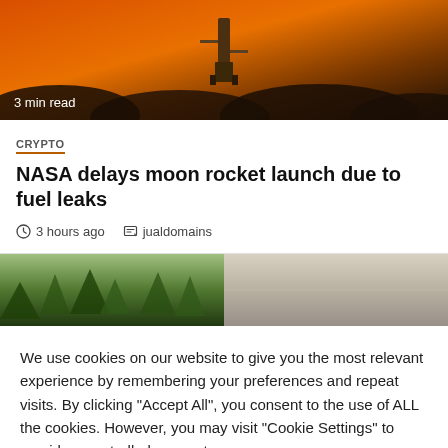[Figure (photo): Article hero image showing rocket launch with orange fiery sky and dark silhouettes, with '3 min read' overlay text]
CRYPTO
NASA delays moon rocket launch due to fuel leaks
3 hours ago   jualdomains
[Figure (photo): Two thumbnail images side by side: left showing green forest/trees, right showing beige/tan wall or surface]
We use cookies on our website to give you the most relevant experience by remembering your preferences and repeat visits. By clicking "Accept All", you consent to the use of ALL the cookies. However, you may visit "Cookie Settings" to provide a controlled consent.
Cookie Settings
Accept All